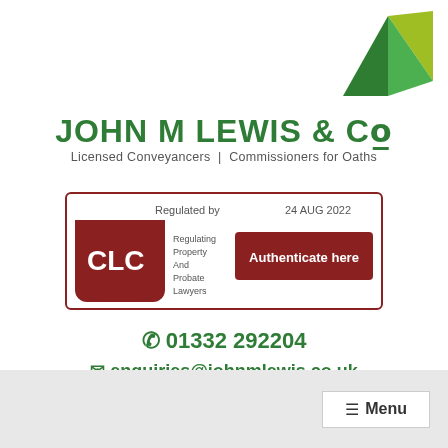[Figure (logo): John M Lewis & Co geometric green and olive triangle logo in top right corner]
JOHN M LEWIS & Co
Licensed Conveyancers | Commissioners for Oaths
[Figure (other): CLC Regulated by badge showing 'Regulated by CLC - Regulating Property And Probate Lawyers', date 24 AUG 2022, and an Authenticate here button]
01332 292204
enquiries@johnmlewis.co.uk
[Figure (other): Social media icons: Facebook, Twitter, LinkedIn, YouTube - all in green rounded squares]
Menu